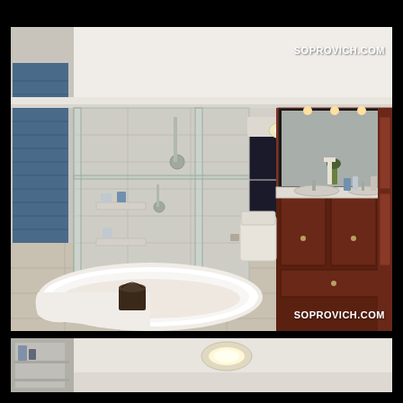[Figure (photo): Interior photo of a luxurious bathroom featuring a freestanding white soaking tub in the foreground, a large glass-enclosed shower stall with marble-tiled walls and multiple shower fixtures, blue-shuttered window on the left, and an expansive dark cherry wood double vanity with large mirror and recessed lighting on the right side. Watermark 'SOPROVICH.COM' appears in top-right corner and bottom-right corner.]
[Figure (photo): Partial bottom view of the same or similar luxury bathroom showing the ceiling with a flush-mount light fixture, cream-colored walls, and partial view of cabinetry or shelving on the left side.]